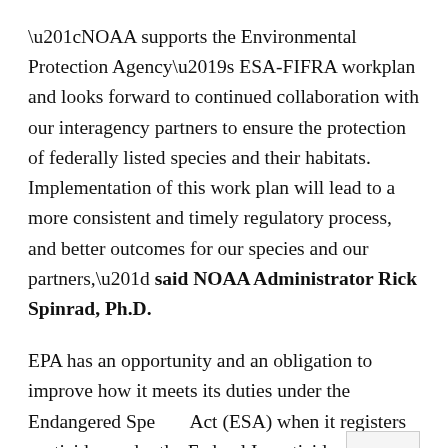“NOAA supports the Environmental Protection Agency’s ESA-FIFRA workplan and looks forward to continued collaboration with our interagency partners to ensure the protection of federally listed species and their habitats. Implementation of this work plan will lead to a more consistent and timely regulatory process, and better outcomes for our species and our partners,” said NOAA Administrator Rick Spinrad, Ph.D.
EPA has an opportunity and an obligation to improve how it meets its duties under the Endangered Species Act (ESA) when it registers pesticides under the Federal Insecticide, Fungicide, and Rodenticide Act